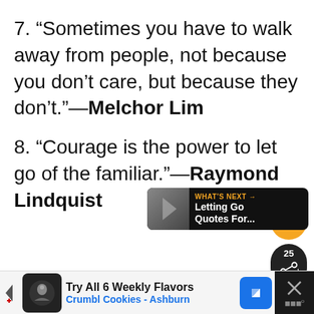7. “Sometimes you have to walk away from people, not because you don’t care, but because they don’t.”—Melchor Lim
8. “Courage is the power to let go of the familiar.”—Raymond Lindquist
[Figure (screenshot): UI overlay: orange heart button, share button with count 25, and 'What's Next' card showing 'Letting Go Quotes For...']
[Figure (screenshot): Advertisement banner: Try All 6 Weekly Flavors, Crumbl Cookies - Ashburn]